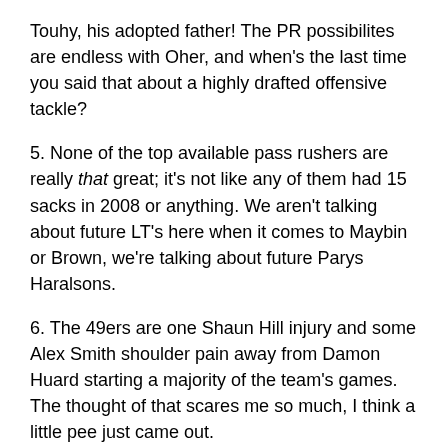Touhy, his adopted father! The PR possibilites are endless with Oher, and when's the last time you said that about a highly drafted offensive tackle?
5. None of the top available pass rushers are really that great; it's not like any of them had 15 sacks in 2008 or anything. We aren't talking about future LT's here when it comes to Maybin or Brown, we're talking about future Parys Haralsons.
6. The 49ers are one Shaun Hill injury and some Alex Smith shoulder pain away from Damon Huard starting a majority of the team's games. The thought of that scares me so much, I think a little pee just came out.
7. None of the top receivers will be available when the 49ers pick and choosing a quarterback like Sanchez (if he's even around at No. 10) won't help the 49ers win now. Singletary can't afford to wait two-to-three years for a QB to develop.